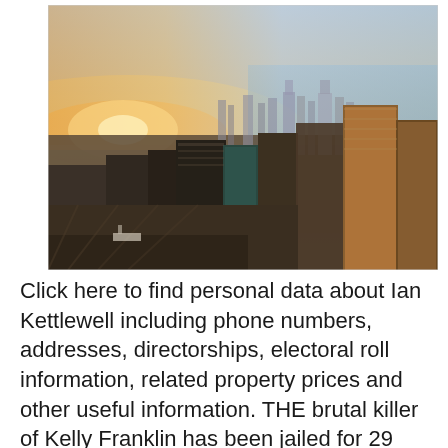[Figure (photo): Aerial cityscape photo of Chicago at sunset/sunrise, showing downtown skyscrapers including the John Hancock Center and Willis Tower, with Lake Michigan visible in the background and a warm golden sky.]
Click here to find personal data about Ian Kettlewell including phone numbers, addresses, directorships, electoral roll information, related property prices and other useful information. THE brutal killer of Kelly Franklin has been jailed for 29 years. Torbjorn Kettlewell stabbed Kelly Franklin, the mother of his